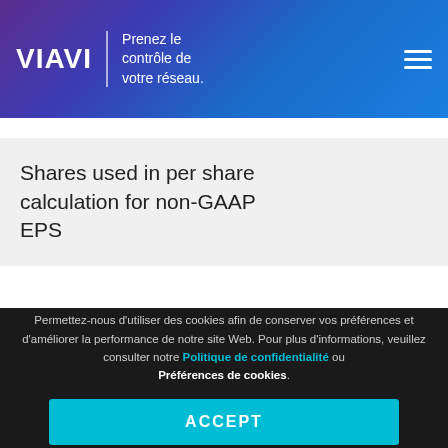VIAVI | Prenez le contrôle de votre réseau.
Shares used in per share calculation for non-GAAP EPS
Permettez-nous d'utiliser des cookies afin de conserver vos préférences et d'améliorer la performance de notre site Web. Pour plus d'informations, veuillez consulter notre Politique de confidentialité ou Préférences de cookies.
ACCEPT